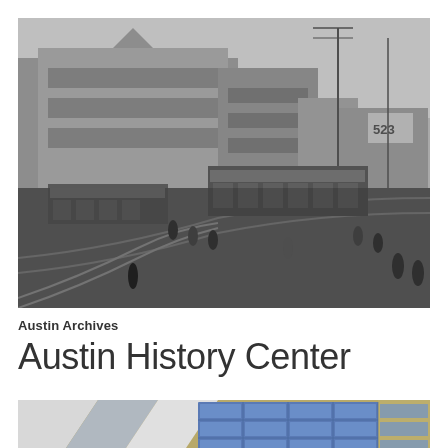[Figure (photo): Historical black and white photograph of Austin street scene with streetcars, pedestrians, and Victorian-era buildings including a large ornate multi-story building. Railroad tracks visible in the foreground with people walking and a streetcar labeled 523.]
Austin Archives
Austin History Center
[Figure (photo): Partial view of a modern architectural rendering or photograph showing a geometric patterned surface with blue solar panels on a grassy landscape with white angular geometric shapes.]